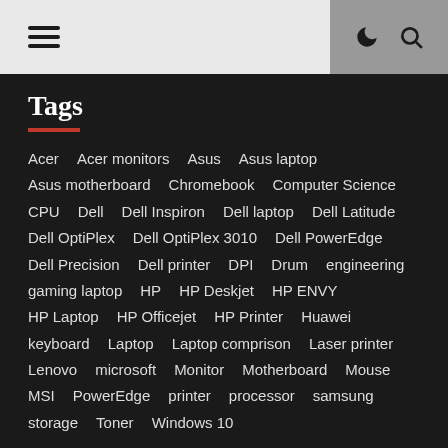Navigation bar with hamburger menu and icons
Tags
Acer  Acer monitors  Asus  Asus laptop  Asus motherboard  Chromebook  Computer Science  CPU  Dell  Dell Inspiron  Dell laptop  Dell Latitude  Dell OptiPlex  Dell OptiPlex 3010  Dell PowerEdge  Dell Precision  Dell printer  DPI  Drum  engineering  gaming laptop  HP  HP Deskjet  HP ENVY  HP Laptop  HP Officejet  HP Printer  Huawei  keyboard  Laptop  Laptop comprison  Laser printer  Lenovo  microsoft  Monitor  Motherboard  Mouse  MSI  PowerEdge  printer  processor  samsung  storage  Toner  Windows 10
Recent Comments
Safiye rezaei on Dell OptiPlex 3010